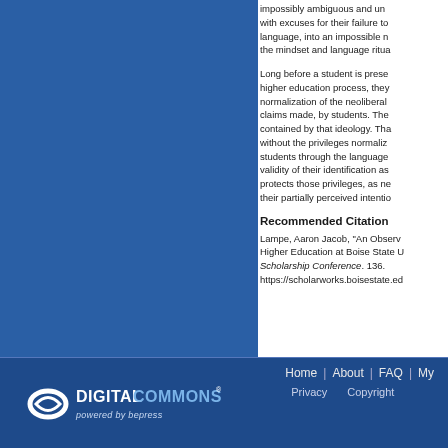[Figure (other): Blue sidebar panel on the left side of the page]
impossibly ambiguous and un... with excuses for their failure to... language, into an impossible m... the mindset and language ritua...
Long before a student is prese... higher education process, they... normalization of the neoliberal... claims made, by students. The... contained by that ideology. Tha... without the privileges normaliz... students through the language... validity of their identification as... protects those privileges, as ne... their partially perceived intentio...
Recommended Citation
Lampe, Aaron Jacob, "An Observ... Higher Education at Boise State U... Scholarship Conference. 136. https://scholarworks.boisestate.e...
[Figure (logo): DigitalCommons powered by bepress logo in white on dark blue footer]
Home | About | FAQ | My... Privacy   Copyright